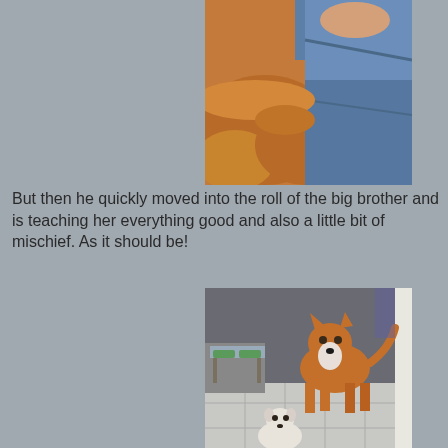[Figure (photo): Close-up photo of a fluffy orange/golden dog resting against a person's lap wearing blue jeans]
But then he quickly moved into the roll of the big brother and is teaching her everything good and also a little bit of mischief. As it should be!
[Figure (photo): Photo of a brown and white husky-type dog standing in a doorway with a small white puppy sitting at its feet, in a tiled room with green food bowls visible]